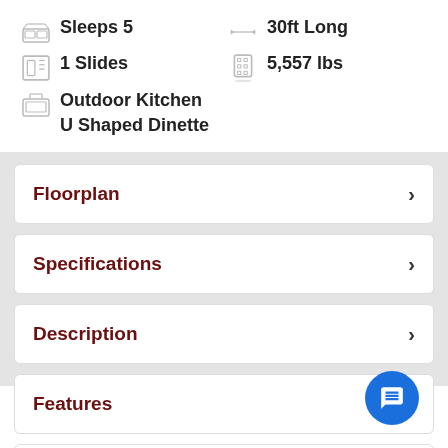Sleeps 5
30ft Long
1 Slides
5,557 lbs
Outdoor Kitchen
U Shaped Dinette
Floorplan
Specifications
Description
Features
Factory Brochure